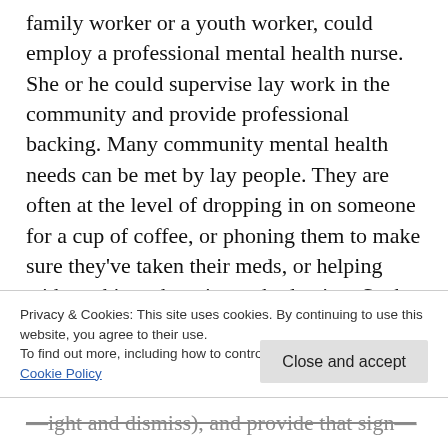family worker or a youth worker, could employ a professional mental health nurse. She or he could supervise lay work in the community and provide professional backing. Many community mental health needs can be met by lay people. They are often at the level of dropping in on someone for a cup of coffee, or phoning them to make sure they've taken their meds, or helping with cooking, shopping or budgeting. Such community concern (also known as 'friendship') can be transforming in the life of
Privacy & Cookies: This site uses cookies. By continuing to use this website, you agree to their use.
To find out more, including how to control cookies, see here: Cookie Policy
Close and accept
ight and dismiss), and provide that sign